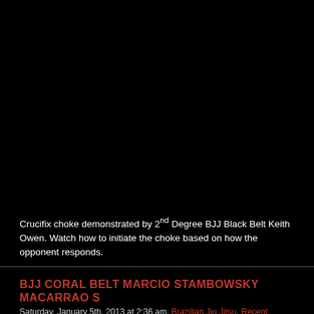[Figure (screenshot): Black video player area (video not loaded/visible), black background filling top portion of page]
Crucifix choke demonstrated by 2nd Degree BJJ Black Belt Keith Owen. Watch how to initiate the choke based on how the opponent responds.
BJJ CORAL BELT MARCIO STAMBOWSKY MACARRAO S
Saturday, January 5th, 2013 at 2:36 am. Brazilian Jiu Jitsu, Recent Videos